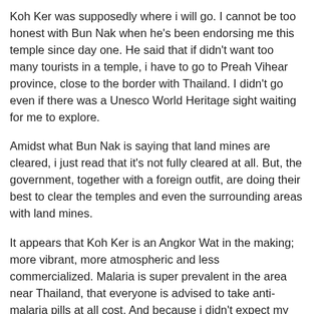Koh Ker was supposedly where i will go. I cannot be too honest with Bun Nak when he's been endorsing me this temple since day one. He said that if didn't want too many tourists in a temple, i have to go to Preah Vihear province, close to the border with Thailand. I didn't go even if there was a Unesco World Heritage sight waiting for me to explore.
Amidst what Bun Nak is saying that land mines are cleared, i just read that it's not fully cleared at all. But, the government, together with a foreign outfit, are doing their best to clear the temples and even the surrounding areas with land mines.
It appears that Koh Ker is an Angkor Wat in the making; more vibrant, more atmospheric and less commercialized. Malaria is super prevalent in the area near Thailand, that everyone is advised to take anti-malaria pills at all cost. And because i didn't expect my adventurous side to overcome my fear, i was literally on the road on a motorbike every single day, looking for places left untouched by tourists. Which means, i was always nearby the red zone. :(